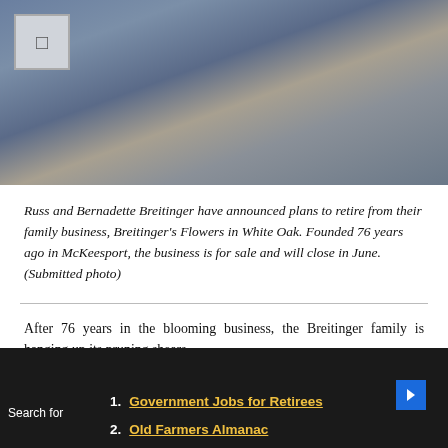[Figure (photo): Photo of Russ and Bernadette Breitinger, two people posed together indoors]
Russ and Bernadette Breitinger have announced plans to retire from their family business, Breitinger's Flowers in White Oak. Founded 76 years ago in McKeesport, the business is for sale and will close in June. (Submitted photo)
After 76 years in the blooming business, the Breitinger family is hanging up its pruning shears.
1. Government Jobs for Retirees
2. Old Farmers Almanac